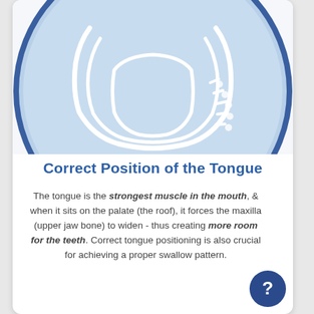[Figure (illustration): A circular illustration with a light blue background and dark blue border showing an anatomical diagram of the mouth/palate from below, with white outlines depicting the upper jaw arch, tongue shape, and dotted texture on the right side representing teeth or gum texture.]
Correct Position of the Tongue
The tongue is the strongest muscle in the mouth, & when it sits on the palate (the roof), it forces the maxilla (upper jaw bone) to widen - thus creating more room for the teeth. Correct tongue positioning is also crucial for achieving a proper swallow pattern.